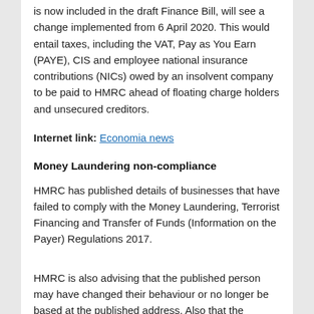is now included in the draft Finance Bill, will see a change implemented from 6 April 2020. This would entail taxes, including the VAT, Pay as You Earn (PAYE), CIS and employee national insurance contributions (NICs) owed by an insolvent company to be paid to HMRC ahead of floating charge holders and unsecured creditors.
Internet link: Economia news
Money Laundering non-compliance
HMRC has published details of businesses that have failed to comply with the Money Laundering, Terrorist Financing and Transfer of Funds (Information on the Payer) Regulations 2017.
HMRC is also advising that the published person may have changed their behaviour or no longer be based at the published address. Also that the business currently at the published address may have no connection with the published business, or may have the same name as the published business but could be under new, and completely